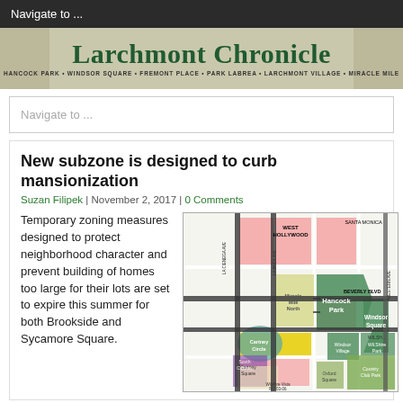Navigate to ...
[Figure (illustration): Larchmont Chronicle newspaper banner with title and subtitle: HANCOCK PARK • WINDSOR SQUARE • FREMONT PLACE • PARK LABREA • LARCHMONT VILLAGE • MIRACLE MILE]
Navigate to ...
New subzone is designed to curb mansionization
Suzan Filipek | November 2, 2017 | 0 Comments
Temporary zoning measures designed to protect neighborhood character and prevent building of homes too large for their lots are set to expire this summer for both Brookside and Sycamore Square.
[Figure (map): Neighborhood zoning map showing West Hollywood, Santa Monica, Hancock Park, Windsor Square, Miracle Mile, Cartney Circle, South Cartney, Oxford Square, Country Club Park, Windsor Village, and other neighborhoods with color-coded zones.]